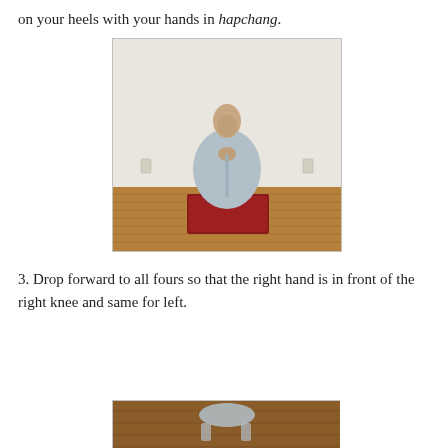on your heels with your hands in hapchang.
[Figure (photo): A person in light grey robes kneeling on a red cushion/mat on a wooden floor, with hands pressed together in a prayer/hapchang gesture. The background is a plain off-white wall. The setting appears to be an indoor meditation or practice room.]
3. Drop forward to all fours so that the right hand is in front of the right knee and same for left.
[Figure (photo): Partial view of a person on all fours on a wooden floor, beginning the forward drop movement described in the instruction above.]